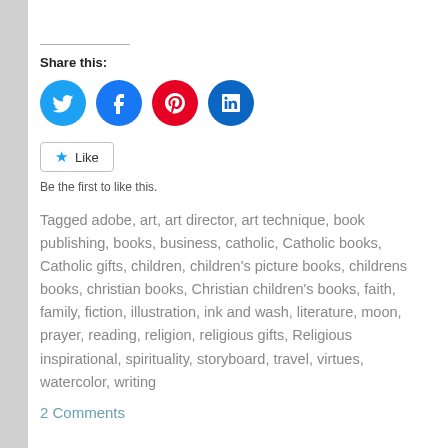Share this:
[Figure (infographic): Four social media sharing icon buttons: Twitter (blue circle), Facebook (blue circle), Pinterest (red circle), LinkedIn (dark teal circle)]
Like  Be the first to like this.
Tagged adobe, art, art director, art technique, book publishing, books, business, catholic, Catholic books, Catholic gifts, children, children's picture books, childrens books, christian books, Christian children's books, faith, family, fiction, illustration, ink and wash, literature, moon, prayer, reading, religion, religious gifts, Religious inspirational, spirituality, storyboard, travel, virtues, watercolor, writing
2 Comments